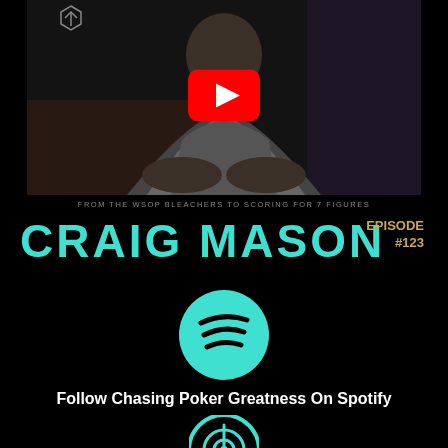[Figure (photo): Man sitting at poker table in gray hoodie, YouTube play button overlay on top]
FROM THE WSOP BLEACHERS TO SCORING FOR 7 FIGURES
CRAIG MASON
EPISODE #123
[Figure (logo): Spotify logo - teal circle with sound wave lines]
Follow Chasing Poker Greatness On Spotify
[Figure (logo): Apple Podcasts logo - teal circle with antenna/radio waves icon]